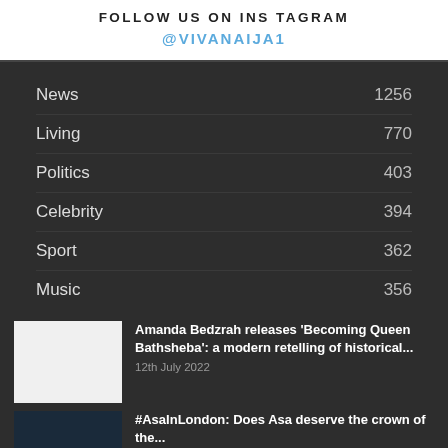FOLLOW US ON INSTAGRAM
@VIVANAIJA1
News 1256
Living 770
Politics 403
Celebrity 394
Sport 362
Music 356
Amanda Bedzrah releases 'Becoming Queen Bathsheba': a modern retelling of historical...
12th July 2022
#AsaInLondon: Does Asa deserve the crown of the...